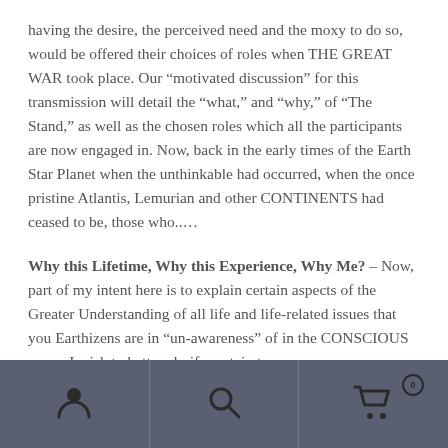having the desire, the perceived need and the moxy to do so, would be offered their choices of roles when THE GREAT WAR took place. Our “motivated discussion” for this transmission will detail the “what,” and “why,” of “The Stand,” as well as the chosen roles which all the participants are now engaged in. Now, back in the early times of the Earth Star Planet when the unthinkable had occurred, when the once pristine Atlantis, Lemurian and other CONTINENTS had ceased to be, those who……
Why this Lifetime, Why this Experience, Why Me? – Now, part of my intent here is to explain certain aspects of the Greater Understanding of all life and life-related issues that you Earthizens are in “un-awareness” of in the CONSCIOUS sense. I wish to better clarify certain terms